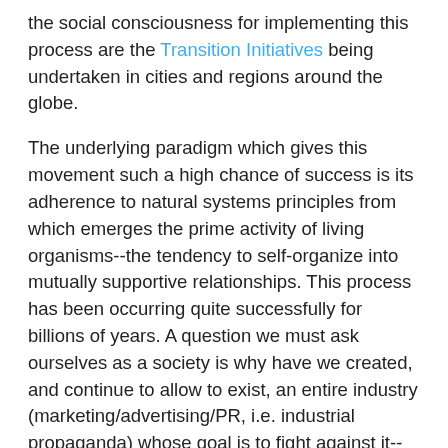the social consciousness for implementing this process are the Transition Initiatives being undertaken in cities and regions around the globe.
The underlying paradigm which gives this movement such a high chance of success is its adherence to natural systems principles from which emerges the prime activity of living organisms--the tendency to self-organize into mutually supportive relationships. This process has been occurring quite successfully for billions of years. A question we must ask ourselves as a society is why have we created, and continue to allow to exist, an entire industry (marketing/advertising/PR, i.e. industrial propaganda) whose goal is to fight against it--when not busy denying it even exists or that basic ecological laws such as carrying capacity must be taken into account?
There are numerous studies in the social, psychological, and biological sciences that support the idea that we could raise awareness and change course rather quickly should we choose to. As Charles Darwin pointed out, survival goes not the the strongest or fastest, but to the ones most adaptable